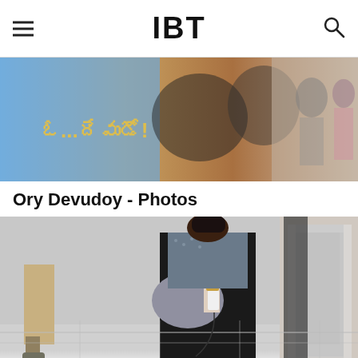IBT
[Figure (photo): Ory Devudoy Telugu movie promotional banner/poster with colorful artwork and actors]
Ory Devudoy - Photos
[Figure (photo): People walking at an event or premiere, woman in black outfit holding a camera/phone with a grey handbag]
Social sharing bar with Facebook, Twitter, LinkedIn, Messenger, WhatsApp icons